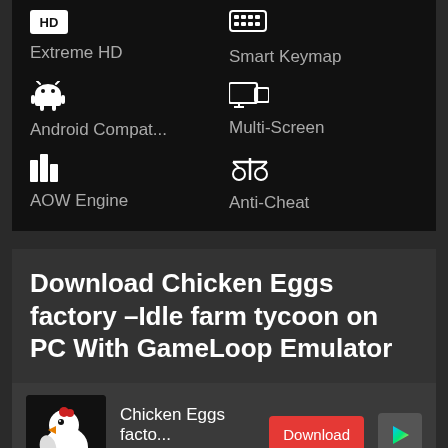[Figure (infographic): Feature icons grid showing Extreme HD (HD badge icon), Smart Keymap (keyboard icon), Android Compat... (Android robot icon), Multi-Screen (monitor icon), AOW Engine (bar chart icon), Anti-Cheat (scale icon)]
Download Chicken Eggs factory –Idle farm tycoon on PC With GameLoop Emulator
[Figure (infographic): App download row: Chicken Eggs game icon (white chicken on black background), app name 'Chicken Eggs facto...', size '23.46MB', red Download button, and Google Play triangle icon button]